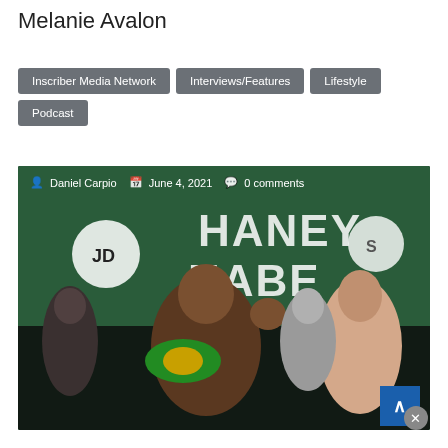Melanie Avalon
Inscriber Media Network
Interviews/Features
Lifestyle
Podcast
[Figure (photo): Boxing weigh-in photo showing two fighters posing in front of a 'Haney vs Nabes' backdrop. One fighter holds a WBC championship belt. Text overlay shows: Daniel Carpio, June 4, 2021, 0 comments. A blue scroll-to-top button is visible in the bottom right corner.]